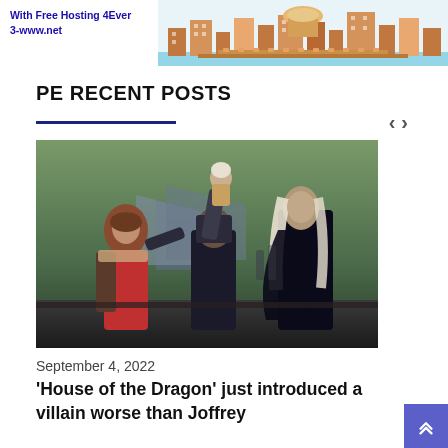[Figure (illustration): Advertisement banner: text 'With Free Hosting 4Ever 3-www.net' in blue bold on the left, and a pixel-art style city/building graphic on the right with orange/pink/blue buildings.]
PE RECENT POSTS
[Figure (photo): Scene from 'House of the Dragon' TV show: a woman in red with fur trim on the left, a man in dark armor holding a white-haired baby aloft in the center, and a long-haired white-haired figure on the right, with a medieval encampment in the background.]
September 4, 2022
'House of the Dragon' just introduced a villain worse than Joffrey